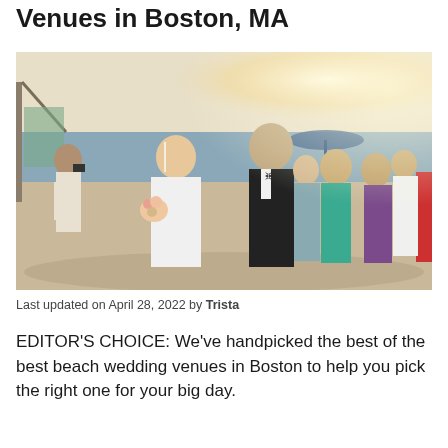Venues in Boston, MA
[Figure (photo): A bride and groom walking hand-in-hand on a beach, smiling, with wedding guests and a photographer behind them. Bright sunlit outdoor beach wedding scene.]
Last updated on April 28, 2022 by Trista
EDITOR'S CHOICE: We've handpicked the best of the best beach wedding venues in Boston to help you pick the right one for your big day.